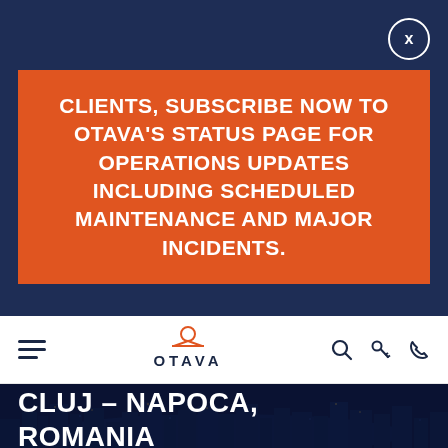[Figure (screenshot): Close/dismiss button (X) in a white circle, top right corner of modal]
CLIENTS, SUBSCRIBE NOW TO OTAVA'S STATUS PAGE FOR OPERATIONS UPDATES INCLUDING SCHEDULED MAINTENANCE AND MAJOR INCIDENTS.
[Figure (logo): OTAVA logo with orange icon above the wordmark, on white navigation bar with hamburger menu on left and search/key/phone icons on right]
CLUJ – NAPOCA, ROMANIA